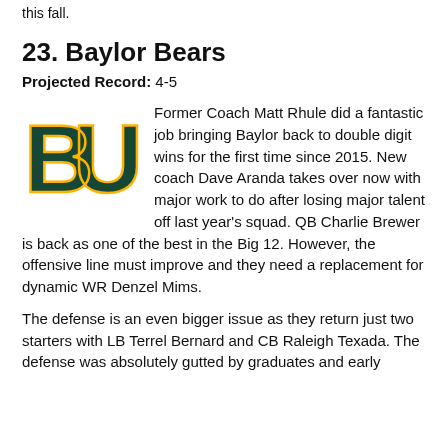this fall.
23. Baylor Bears
Projected Record: 4-5
[Figure (logo): Baylor Bears BU logo in green and gold]
Former Coach Matt Rhule did a fantastic job bringing Baylor back to double digit wins for the first time since 2015. New coach Dave Aranda takes over now with major work to do after losing major talent off last year's squad. QB Charlie Brewer is back as one of the best in the Big 12. However, the offensive line must improve and they need a replacement for dynamic WR Denzel Mims.
The defense is an even bigger issue as they return just two starters with LB Terrel Bernard and CB Raleigh Texada. The defense was absolutely gutted by graduates and early